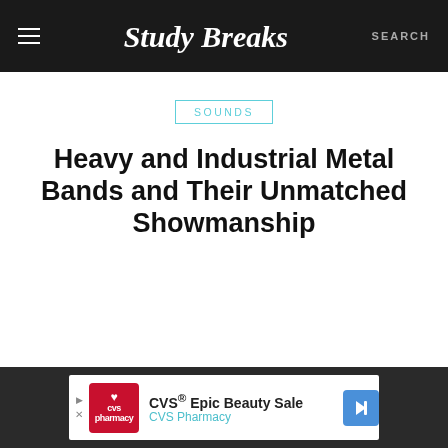Study Breaks  SEARCH
SOUNDS
Heavy and Industrial Metal Bands and Their Unmatched Showmanship
[Figure (other): CVS Epic Beauty Sale advertisement banner with CVS Pharmacy logo]